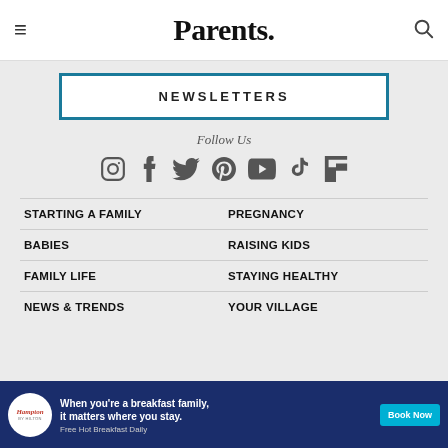Parents.
NEWSLETTERS
Follow Us
[Figure (infographic): Social media icons row: Instagram, Facebook, Twitter, Pinterest, YouTube, TikTok, Flipboard]
STARTING A FAMILY
PREGNANCY
BABIES
RAISING KIDS
FAMILY LIFE
STAYING HEALTHY
NEWS & TRENDS
YOUR VILLAGE
[Figure (screenshot): Hampton by Hilton advertisement banner: 'When you're a breakfast family, it matters where you stay. Free Hot Breakfast Daily. Book Now']